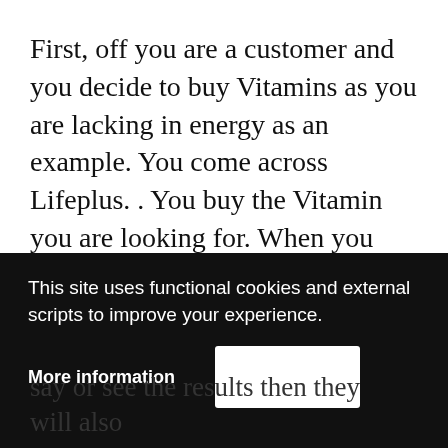First, off you are a customer and you decide to buy Vitamins as you are lacking in energy as an example. You come across Lifeplus. . You buy the Vitamin you are looking for. When you finish your purchase you are given a Pin Number. Now if you love how the Vitamins and they working for you.
This site uses functional cookies and external scripts to improve your experience.
More information
say or see the results then they will also